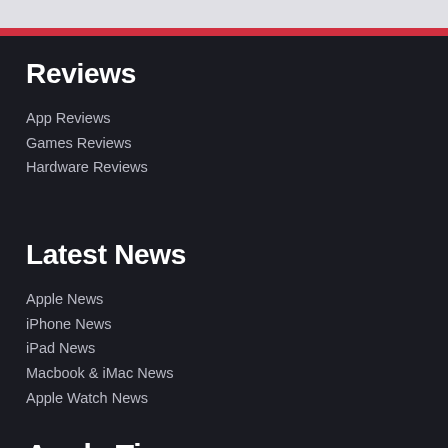Reviews
App Reviews
Games Reviews
Hardware Reviews
Latest News
Apple News
iPhone News
iPad News
Macbook & iMac News
Apple Watch News
Apple Tips